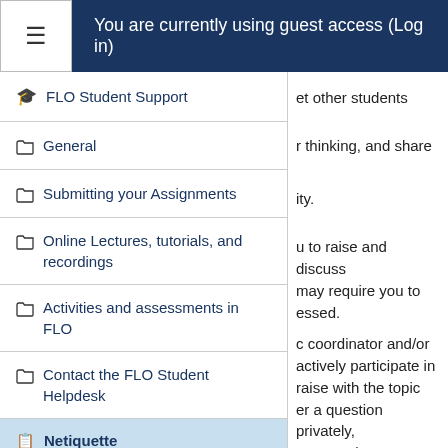You are currently using guest access (Log in)
FLO Student Support
et other students
General
r thinking, and share
Submitting your Assignments
ity.
Online Lectures, tutorials, and recordings
u to raise and discuss may require you to essed.
Activities and assessments in FLO
c coordinator and/or actively participate in raise with the topic er a question privately, ne or make an
Contact the FLO Student Helpdesk
Netiquette